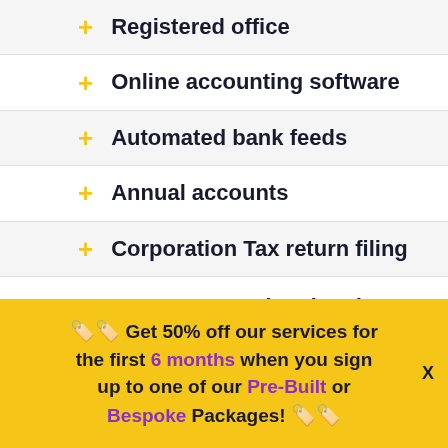+ Registered office
+ Online accounting software
+ Automated bank feeds
+ Annual accounts
+ Corporation Tax return filing
VAT returns completed and
🏷️🏷️ Get 50% off our services for the first 6 months when you sign up to one of our Pre-Built or Bespoke Packages! 🏷️🏷️